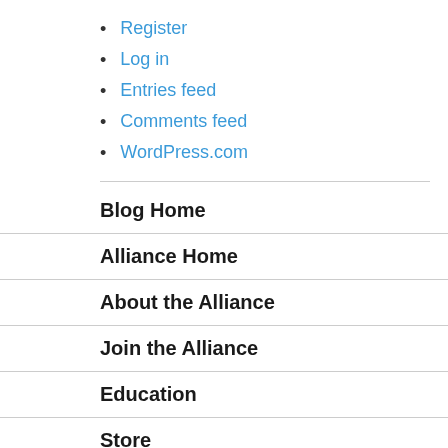Register
Log in
Entries feed
Comments feed
WordPress.com
Blog Home
Alliance Home
About the Alliance
Join the Alliance
Education
Store